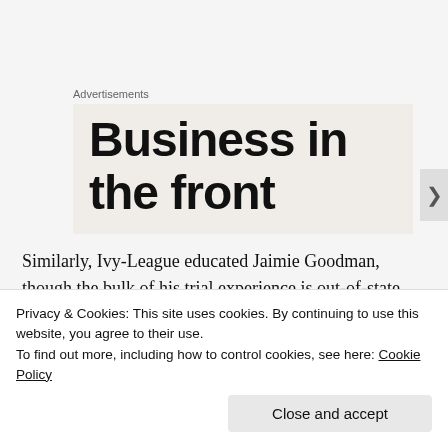Advertisements
[Figure (other): Advertisement banner showing large bold text 'Business in the front']
Similarly, Ivy-League educated Jaimie Goodman, though the bulk of his trial experience is out-of-state, seems to have an excellent temperament, and despite specializing in employment law, has a commanding general legal knowledge. This is his third campaign for judge.
Privacy & Cookies: This site uses cookies. By continuing to use this website, you agree to their use.
To find out more, including how to control cookies, see here: Cookie Policy
Close and accept